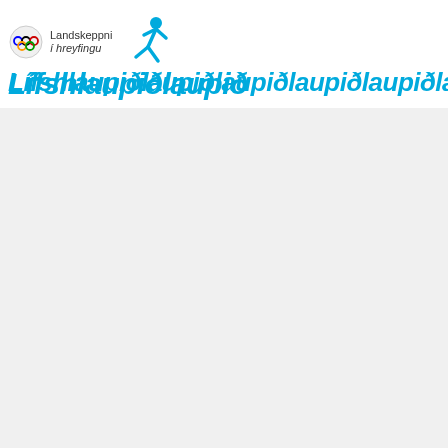Lífshlaupiðlogo and hamburger menu
[Figure (pie-chart): Partial pie chart visible with multiple colored slices, label 15.7% visible. Legend shows Fjallastirnir (orange dot) and Fjallganga (green dot). Pagination: 1/6 with up/down triangles.]
Við notum vafrakökur á þessari vefsíðu
Á þessu vefsvæði eru notaðar vafrakökur til þess að tryggja bestu mögulegu upplifun notenda.
Lesa meira
Leyfa vafrakökur
Stillingar á vafrakökum
| Hópadeild |  | 3 | 32 | 10,6667 | 189 |
| --- | --- | --- | --- | --- | --- |